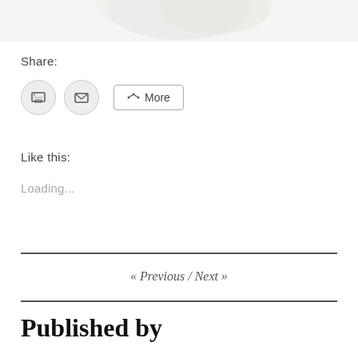[Figure (photo): Top portion of a decorative image, cropped at the top of the page — appears to show a white/light floral or feathery texture]
Share:
[Figure (infographic): Social sharing buttons: a print icon (circle), an email/envelope icon (circle), and a 'More' button with share icon]
Like this:
Loading...
« Previous  /  Next »
Published by